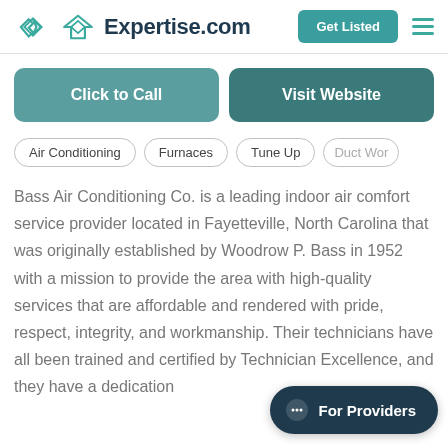Expertise.com
Click to Call
Visit Website
Air Conditioning
Furnaces
Tune Up
Duct Wor
Bass Air Conditioning Co. is a leading indoor air comfort service provider located in Fayetteville, North Carolina that was originally established by Woodrow P. Bass in 1952 with a mission to provide the area with high-quality services that are affordable and rendered with pride, respect, integrity, and workmanship. Their technicians have all been trained and certified by Technician Excellence, and they have a dedication